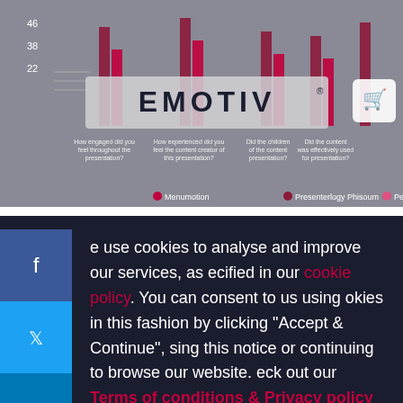[Figure (screenshot): Emotiv website screenshot showing a bar chart in the background with gray overlay, EMOTIV logo centered, and legend items for Presenterlogy Thistoun, Menumotion, and Peroccident]
e use cookies to analyse and improve our services, as ecified in our cookie policy. You can consent to us using okies in this fashion by clicking "Accept & Continue", sing this notice or continuing to browse our website. eck out our Terms of conditions & Privacy policy for ther information.
ACCEPT & CONTINUE
REJECT
See all our headsets, software, and accessories.
See All Products